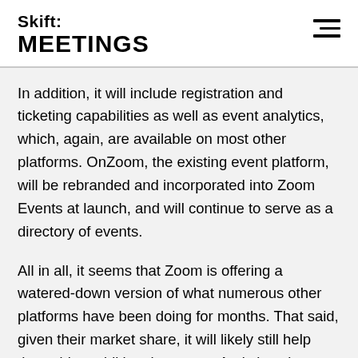Skift MEETINGS
In addition, it will include registration and ticketing capabilities as well as event analytics, which, again, are available on most other platforms. OnZoom, the existing event platform, will be rebranded and incorporated into Zoom Events at launch, and will continue to serve as a directory of events.
All in all, it seems that Zoom is offering a watered-down version of what numerous other platforms have been doing for months. That said, given their market share, it will likely still help them drive additional revenue. And since it can be used with